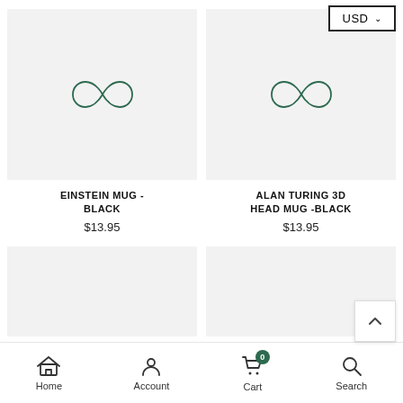[Figure (screenshot): USD currency selector button with dropdown chevron, top right corner]
[Figure (photo): Product image placeholder with infinity/brand logo for Einstein Mug - Black]
EINSTEIN MUG - BLACK
$13.95
[Figure (photo): Product image placeholder with infinity/brand logo for Alan Turing 3D Head Mug -Black]
ALAN TURING 3D HEAD MUG -BLACK
$13.95
[Figure (photo): Partial product image placeholder - bottom left product]
[Figure (photo): Partial product image placeholder - bottom right product]
Home  Account  Cart  Search